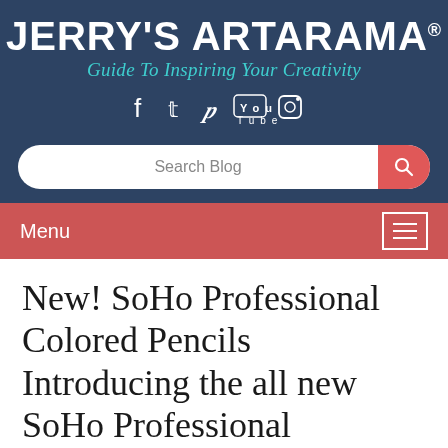JERRY'S ARTARAMA®
Guide To Inspiring Your Creativity
[Figure (infographic): Social media icons: Facebook, Twitter, Pinterest, YouTube, Instagram]
[Figure (infographic): Search Blog input bar with search button]
Menu
New! SoHo Professional Colored Pencils Introducing the all new SoHo Professional